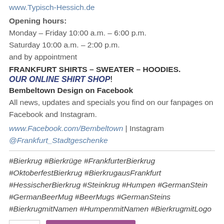www.Typisch-Hessich.de
Opening hours:
Monday – Friday 10:00 a.m. – 6:00 p.m.
Saturday 10:00 a.m. – 2:00 p.m.
and by appointment
FRANKFURT SHIRTS – SWEATER – HOODIES.
OUR ONLINE SHIRT SHOP!
Bembeltown Design on Facebook
All news, updates and specials you find on our fanpages on Facebook and Instagram.
www.Facebook.com/Bembeltown | Instagram @Frankfurt_Stadtgeschenke
#Bierkrug #Bierkrüge #FrankfurterBierkrug #OktoberfestBierkrug #BierkrugausFrankfurt #HessischerBierkrug #Steinkrug #Humpen #GermanStein #GermanBeerMug #BeerMugs #GermanSteins #BierkrugmitNamen #HumpenmitNamen #BierkrugmitLogo